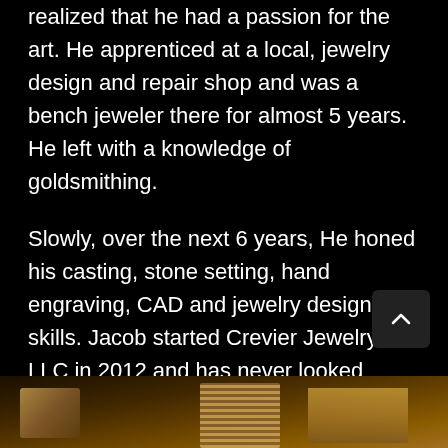realized that he had a passion for the art. He apprenticed at a local, jewelry design and repair shop and was a bench jeweler there for almost 5 years. He left with a knowledge of goldsmithing.
Slowly, over the next 6 years, He honed his casting, stone setting, hand engraving, CAD and jewelry design skills. Jacob started Crevier Jewelry LLC in 2012 and has never looked back.
[Figure (photo): Partial photo visible at bottom of page showing what appears to be jewelry making tools and a brush, warm golden/brown tones]